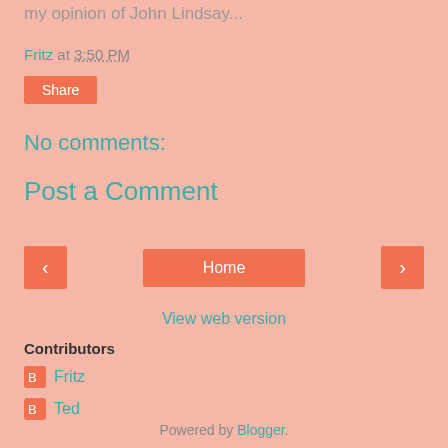my opinion of John Lindsay...
Fritz at 3:50 PM
Share
No comments:
Post a Comment
< Home >
View web version
Contributors
Fritz
Ted
Powered by Blogger.